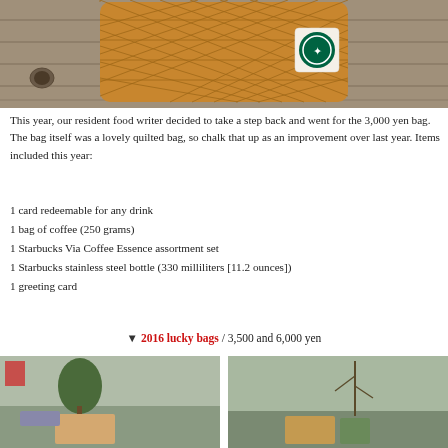[Figure (photo): A yellow/mustard quilted Starbucks bag with the Starbucks siren logo patch on wood surface]
This year, our resident food writer decided to take a step back and went for the 3,000 yen bag. The bag itself was a lovely quilted bag, so chalk that up as an improvement over last year. Items included this year:
1 card redeemable for any drink
1 bag of coffee (250 grams)
1 Starbucks Via Coffee Essence assortment set
1 Starbucks stainless steel bottle (330 milliliters [11.2 ounces])
1 greeting card
▼ 2016 lucky bags / 3,500 and 6,000 yen
[Figure (photo): Two images of Starbucks lucky bags arranged on a table with trees and outdoor scenery in the background]